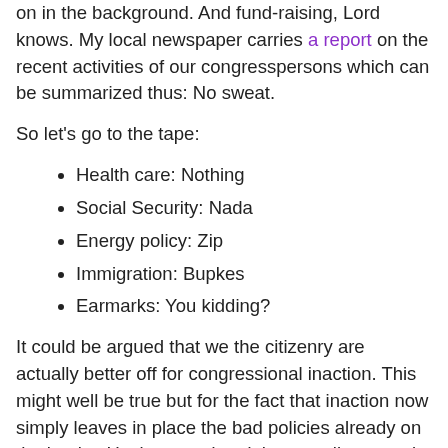on in the background. And fund-raising, Lord knows. My local newspaper carries a report on the recent activities of our congresspersons which can be summarized thus: No sweat.
So let's go to the tape:
Health care: Nothing
Social Security: Nada
Energy policy: Zip
Immigration: Bupkes
Earmarks: You kidding?
It could be argued that we the citizenry are actually better off for congressional inaction. This might well be true but for the fact that inaction now simply leaves in place the bad policies already on the books. Having mandated that gasoline contain a certain proportion of ethanol, for example, certainly counts as a stab at an energy policy, while forbidding the import of cheap sugar-based ethanol in favor of the